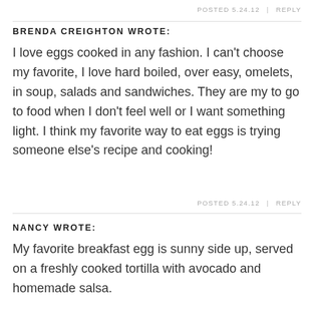POSTED 5.24.12  |  REPLY
BRENDA CREIGHTON WROTE:
I love eggs cooked in any fashion. I can't choose my favorite, I love hard boiled, over easy, omelets, in soup, salads and sandwiches. They are my to go to food when I don't feel well or I want something light. I think my favorite way to eat eggs is trying someone else's recipe and cooking!
POSTED 5.24.12  |  REPLY
NANCY WROTE:
My favorite breakfast egg is sunny side up, served on a freshly cooked tortilla with avocado and homemade salsa.